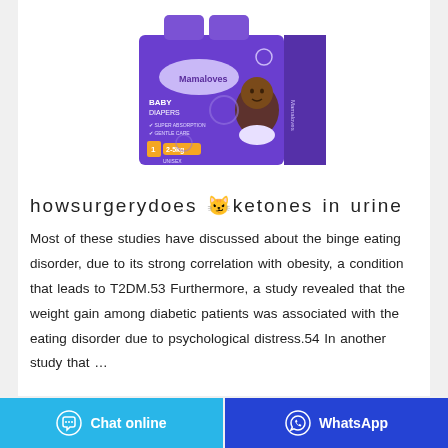[Figure (photo): Mamaloves Baby Diapers product box in purple color, size 1 (2-5kg), Unisex, with a baby on the front, showing super absorption and gentle care features]
howsurgerydoes 🐱 ketones in urine
Most of these studies have discussed about the binge eating disorder, due to its strong correlation with obesity, a condition that leads to T2DM.53 Furthermore, a study revealed that the weight gain among diabetic patients was associated with the eating disorder due to psychological distress.54 In another study that …